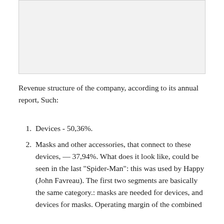[Figure (other): Gray placeholder image area at the top of the page]
Revenue structure of the company, according to its annual report, Such:
Devices - 50,36%.
Masks and other accessories, that connect to these devices, — 37,94%. What does it look like, could be seen in the last "Spider-Man": this was used by Happy (John Favreau). The first two segments are basically the same category.: masks are needed for devices, and devices for masks. Operating margin of the combined